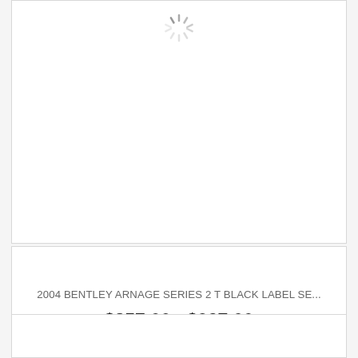[Figure (other): Product card with loading spinner at top center, white background with light gray border]
2004 BENTLEY ARNAGE SERIES 2 T BLACK LABEL SE...
$357.00 - $927.00
[Figure (other): Second product card, white background with light gray border, partially visible at bottom]